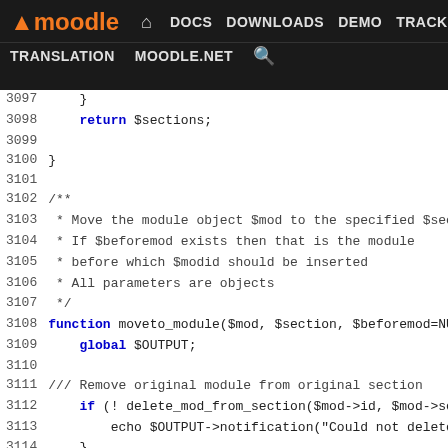moodle | DOCS DOWNLOADS DEMO TRACKER DEV | TRANSLATION MOODLE.NET
[Figure (screenshot): Moodle developer documentation site navigation bar with logo, nav links (DOCS, DOWNLOADS, DEMO, TRACKER, DEV highlighted in purple), and secondary nav (TRANSLATION, MOODLE.NET, search icon)]
PHP source code lines 3097-3122 showing function moveto_module with PHPDoc comment block and code for removing original module from section, handling hidden section visibility, and adding module to new section